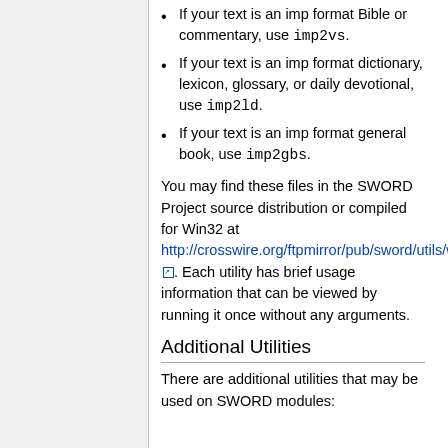If your text is an imp format Bible or commentary, use imp2vs.
If your text is an imp format dictionary, lexicon, glossary, or daily devotional, use imp2ld.
If your text is an imp format general book, use imp2gbs.
You may find these files in the SWORD Project source distribution or compiled for Win32 at http://crosswire.org/ftpmirror/pub/sword/utils/win32/. Each utility has brief usage information that can be viewed by running it once without any arguments.
Additional Utilities
There are additional utilities that may be used on SWORD modules: